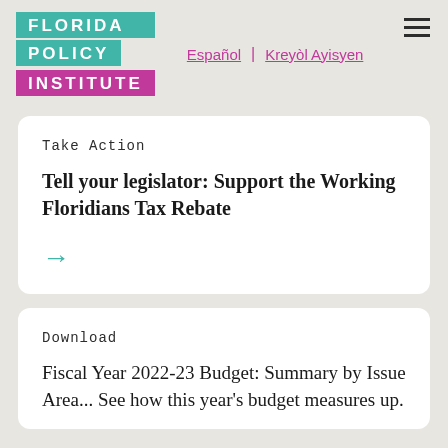Florida Policy Institute — Español | Kreyòl Ayisyen
Take Action
Tell your legislator: Support the Working Floridians Tax Rebate
Download
Fiscal Year 2022-23 Budget: Summary by Issue Area... See how this year's budget measures up.